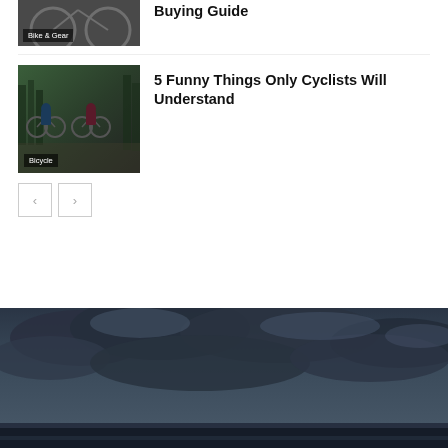[Figure (photo): Partially visible thumbnail of cyclist/bike photo with 'Bike & Gear' badge, partial article row at top of page]
Buying Guide
[Figure (photo): Thumbnail photo of two cyclists riding bicycles with helmets, in a green wooded area. Badge reads 'Bicycle'.]
5 Funny Things Only Cyclists Will Understand
[Figure (other): Pagination navigation with previous (<) and next (>) arrow buttons]
[Figure (photo): Large dramatic sky photo with dark storm clouds, bottom portion of page]